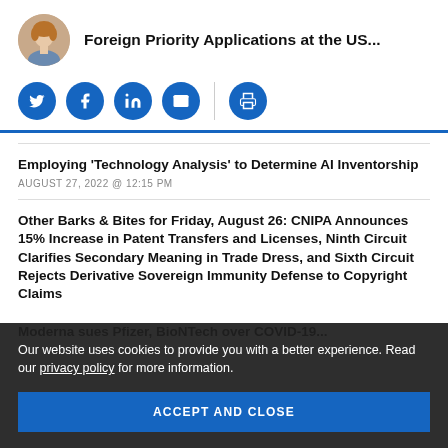Foreign Priority Applications at the US...
[Figure (other): Social media share buttons: Twitter, Facebook, LinkedIn, Email, Print]
Employing ‘Technology Analysis’ to Determine AI Inventorship
AUGUST 27, 2022 @ 12:15 PM
Other Barks & Bites for Friday, August 26: CNIPA Announces 15% Increase in Patent Transfers and Licenses, Ninth Circuit Clarifies Secondary Meaning in Trade Dress, and Sixth Circuit Rejects Derivative Sovereign Immunity Defense to Copyright Claims
Our website uses cookies to provide you with a better experience. Read our privacy policy for more information.
ACCEPT AND CLOSE
Moderna sues Pfizer, BioNTech over COVID-19...